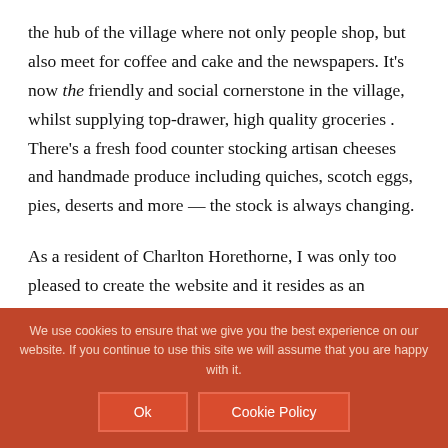the hub of the village where not only people shop, but also meet for coffee and cake and the newspapers. It's now the friendly and social cornerstone in the village, whilst supplying top-drawer, high quality groceries . There's a fresh food counter stocking artisan cheeses and handmade produce including quiches, scotch eggs, pies, deserts and more — the stock is always changing.
As a resident of Charlton Horethorne, I was only too pleased to create the website and it resides as an examplar of minimal and functional design in my portfolio.
We use cookies to ensure that we give you the best experience on our website. If you continue to use this site we will assume that you are happy with it.